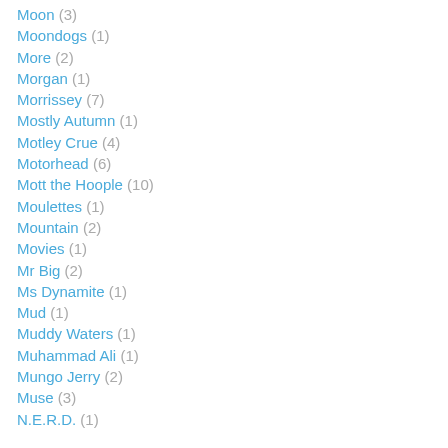Moon (3)
Moondogs (1)
More (2)
Morgan (1)
Morrissey (7)
Mostly Autumn (1)
Motley Crue (4)
Motorhead (6)
Mott the Hoople (10)
Moulettes (1)
Mountain (2)
Movies (1)
Mr Big (2)
Ms Dynamite (1)
Mud (1)
Muddy Waters (1)
Muhammad Ali (1)
Mungo Jerry (2)
Muse (3)
N.E.R.D. (1)